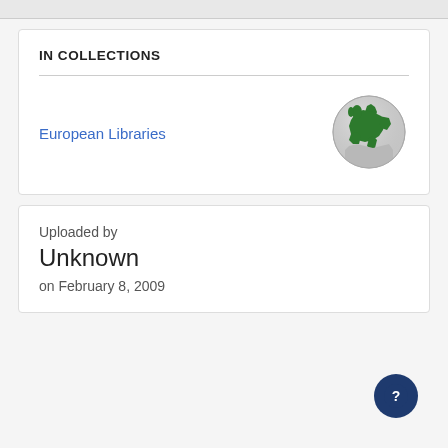IN COLLECTIONS
European Libraries
[Figure (illustration): Globe icon showing Europe highlighted in green on a grey globe]
Uploaded by
Unknown
on February 8, 2009